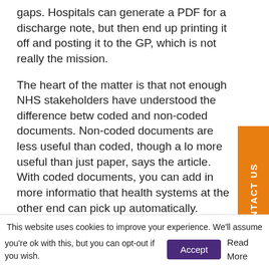gaps. Hospitals can generate a PDF for a discharge note, but then end up printing it off and posting it to the GP, which is not really the mission.
The heart of the matter is that not enough NHS stakeholders have understood the difference between coded and non-coded documents. Non-coded documents are less useful than coded, though a lot more useful than just paper, says the article. With coded documents, you can add in more information that health systems at the other end can pick up automatically.
Ideally all data formats (and there are lots) should be coded. In the meantime, your ICDR needs to work with
This website uses cookies to improve your experience. We'll assume you're ok with this, but you can opt-out if you wish. Accept Read More